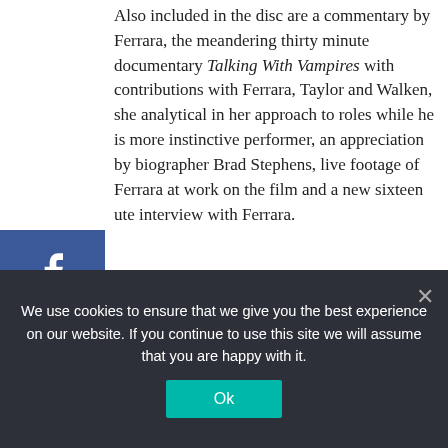Also included in the disc are a commentary by Ferrara, the meandering thirty minute documentary Talking With Vampires with contributions with Ferrara, Taylor and Walken, she analytical in her approach to roles while he is more instinctive performer, an appreciation by biographer Brad Stephens, live footage of Ferrara at work on the film and a new sixteen ute interview with Ferrara.
The Addiction is available now from Arrow Films
[Figure (photo): Black and white film still showing three people: a figure on the left in a suit, a central figure appearing to be in an ecstatic or distressed pose with head tilted back, and a figure on the right in a suit with tie.]
We use cookies to ensure that we give you the best experience on our website. If you continue to use this site we will assume that you are happy with it.